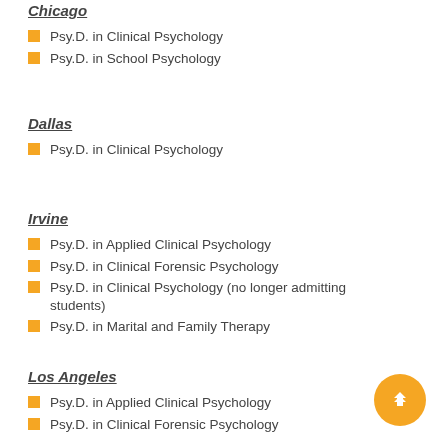Chicago
Psy.D. in Clinical Psychology
Psy.D. in School Psychology
Dallas
Psy.D. in Clinical Psychology
Irvine
Psy.D. in Applied Clinical Psychology
Psy.D. in Clinical Forensic Psychology
Psy.D. in Clinical Psychology (no longer admitting students)
Psy.D. in Marital and Family Therapy
Los Angeles
Psy.D. in Applied Clinical Psychology
Psy.D. in Clinical Forensic Psychology